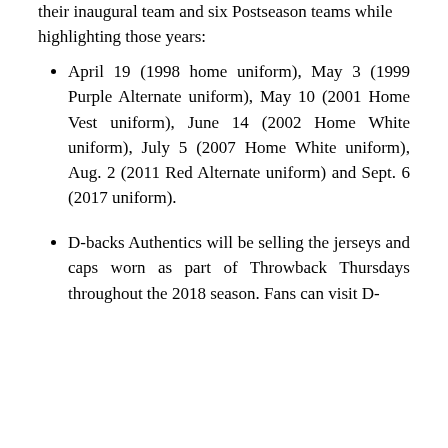their inaugural team and six Postseason teams while highlighting those years:
April 19 (1998 home uniform), May 3 (1999 Purple Alternate uniform), May 10 (2001 Home Vest uniform), June 14 (2002 Home White uniform), July 5 (2007 Home White uniform), Aug. 2 (2011 Red Alternate uniform) and Sept. 6 (2017 uniform).
D-backs Authentics will be selling the jerseys and caps worn as part of Throwback Thursdays throughout the 2018 season. Fans can visit D-